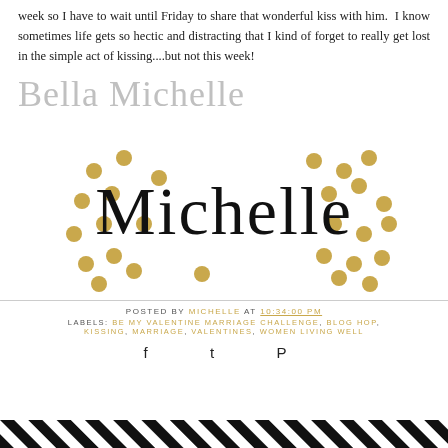week so I have to wait until Friday to share that wonderful kiss with him.  I know sometimes life gets so hectic and distracting that I kind of forget to really get lost in the simple act of kissing....but not this week!
[Figure (illustration): Cursive handwritten signature reading 'Bella Michelle' in light gray]
[Figure (logo): Decorative logo with gold confetti dots surrounding the script word 'Michelle' in black calligraphy]
POSTED BY MICHELLE AT 10:34:00 PM
LABELS: BE MY VALENTINE MARRIAGE CHALLENGE, BLOG HOP, KISSING, MARRIAGE, VALENTINES, WOMEN LIVING WELL
[Figure (illustration): Social sharing icons: Facebook, Twitter, Pinterest]
[Figure (illustration): Black and white diagonal stripe decorative bar at the bottom of the page]